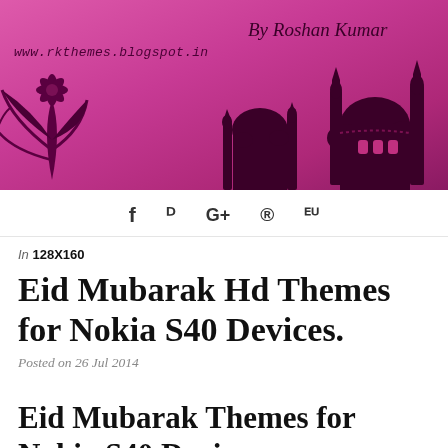[Figure (illustration): Blog header banner with pink/magenta gradient background. Shows mosque silhouettes in dark purple on the right, a flower illustration on the left. Text 'www.rkthemes.blogspot.in' on left and 'By Roshan Kumar' in script on upper right.]
f  y  G+  ®  Su
In 128X160
Eid Mubarak Hd Themes for Nokia S40 Devices.
Posted on 26 Jul 2014
Eid Mubarak Themes for Nokia S40 Devices.